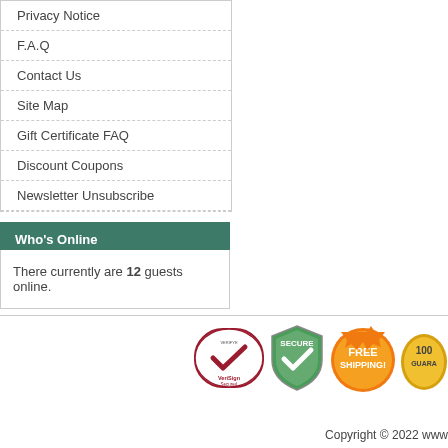Privacy Notice
F.A.Q
Contact Us
Site Map
Gift Certificate FAQ
Discount Coupons
Newsletter Unsubscribe
Who's Online
There currently are 12 guests online.
[Figure (logo): VeriSign Secured badge, Secure shield badge, Free Shipping badge, Satisfaction Guarantee badge]
Copyright © 2022 www